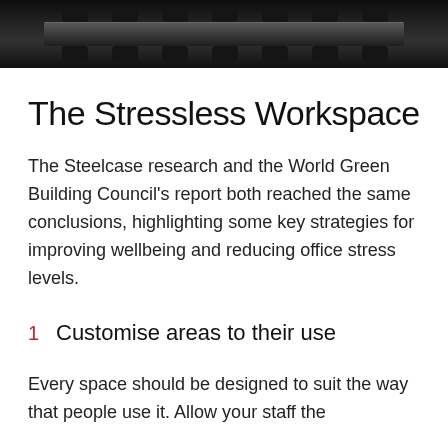[Figure (photo): Dark overhead photograph of a conference room table with chairs on both sides, viewed from above.]
The Stressless Workspace
The Steelcase research and the World Green Building Council's report both reached the same conclusions, highlighting some key strategies for improving wellbeing and reducing office stress levels.
1  Customise areas to their use
Every space should be designed to suit the way that people use it. Allow your staff the